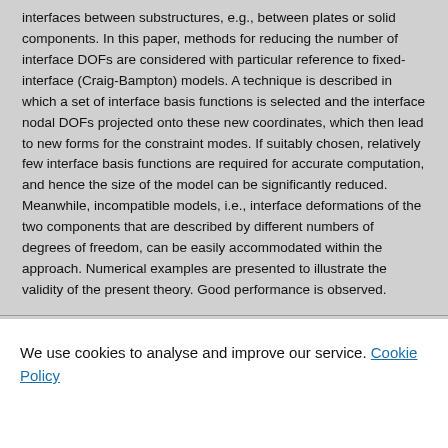interfaces between substructures, e.g., between plates or solid components. In this paper, methods for reducing the number of interface DOFs are considered with particular reference to fixed-interface (Craig-Bampton) models. A technique is described in which a set of interface basis functions is selected and the interface nodal DOFs projected onto these new coordinates, which then lead to new forms for the constraint modes. If suitably chosen, relatively few interface basis functions are required for accurate computation, and hence the size of the model can be significantly reduced. Meanwhile, incompatible models, i.e., interface deformations of the two components that are described by different numbers of degrees of freedom, can be easily accommodated within the approach. Numerical examples are presented to illustrate the validity of the present theory. Good performance is observed.
We use cookies to analyse and improve our service. Cookie Policy